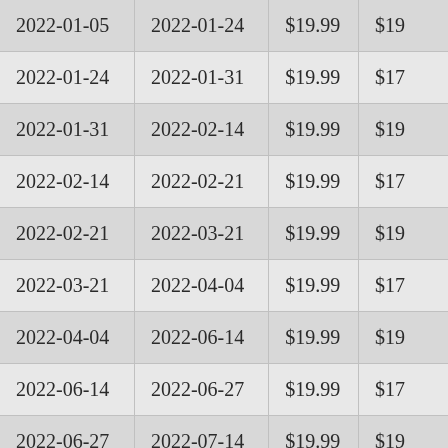| 2022-01-05 | 2022-01-24 | $19.99 | $19… |
| 2022-01-24 | 2022-01-31 | $19.99 | $17… |
| 2022-01-31 | 2022-02-14 | $19.99 | $19… |
| 2022-02-14 | 2022-02-21 | $19.99 | $17… |
| 2022-02-21 | 2022-03-21 | $19.99 | $19… |
| 2022-03-21 | 2022-04-04 | $19.99 | $17… |
| 2022-04-04 | 2022-06-14 | $19.99 | $19… |
| 2022-06-14 | 2022-06-27 | $19.99 | $17… |
| 2022-06-27 | 2022-07-14 | $19.99 | $19… |
| 2022-07-14 | 2022-07-17 | $19.99 | $17… |
| 2022-07-17 | 2022-07-25 | $19.99 | $19… |
| 2022-07-25 | 2022-08-02 | $19.99 | $17… |